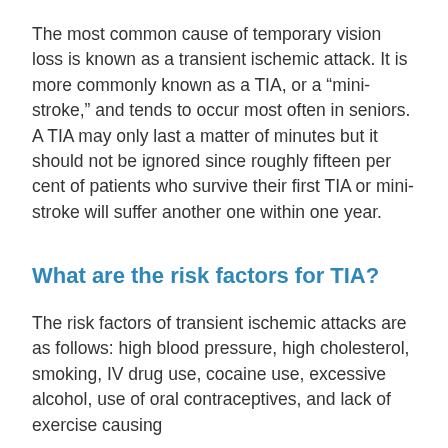The most common cause of temporary vision loss is known as a transient ischemic attack. It is more commonly known as a TIA, or a “mini-stroke,” and tends to occur most often in seniors. A TIA may only last a matter of minutes but it should not be ignored since roughly fifteen per cent of patients who survive their first TIA or mini-stroke will suffer another one within one year.
What are the risk factors for TIA?
The risk factors of transient ischemic attacks are as follows: high blood pressure, high cholesterol, smoking, IV drug use, cocaine use, excessive alcohol, use of oral contraceptives, and lack of exercise causing